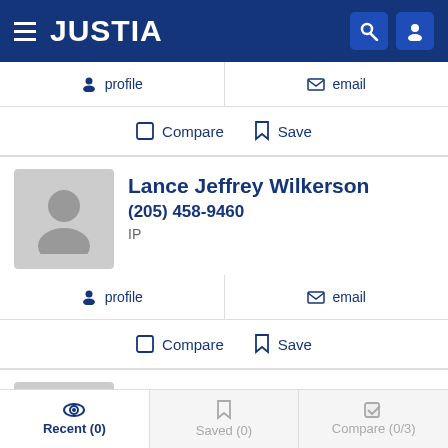JUSTIA
profile   email
Compare   Save
Lance Jeffrey Wilkerson
(205) 458-9460
IP
profile   email
Compare   Save
Erik Stephen Heninger
(205) 326-3336
Recent (0)   Saved (0)   Compare (0/3)